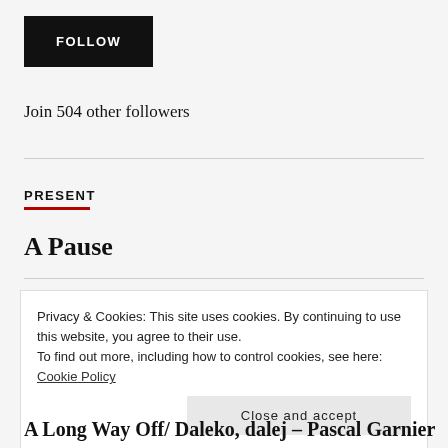FOLLOW
Join 504 other followers
PRESENT
A Pause
Privacy & Cookies: This site uses cookies. By continuing to use this website, you agree to their use. To find out more, including how to control cookies, see here: Cookie Policy
Close and accept
A Long Way Off/ Daleko, dalej – Pascal Garnier